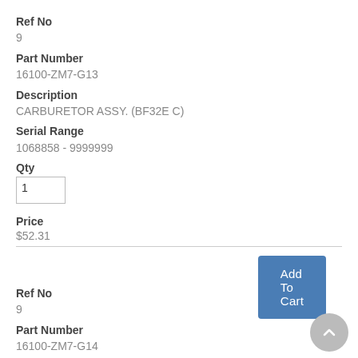Ref No
9
Part Number
16100-ZM7-G13
Description
CARBURETOR ASSY. (BF32E C)
Serial Range
1068858 - 9999999
Qty
Price
$52.31
Add To Cart
Ref No
9
Part Number
16100-ZM7-G14
Description